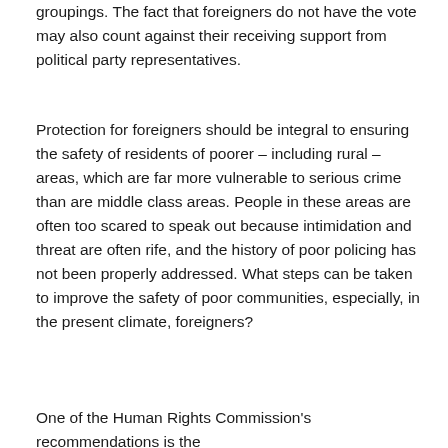groupings. The fact that foreigners do not have the vote may also count against their receiving support from political party representatives.
Protection for foreigners should be integral to ensuring the safety of residents of poorer – including rural – areas, which are far more vulnerable to serious crime than are middle class areas. People in these areas are often too scared to speak out because intimidation and threat are often rife, and the history of poor policing has not been properly addressed. What steps can be taken to improve the safety of poor communities, especially, in the present climate, foreigners?
One of the Human Rights Commission's recommendations is the